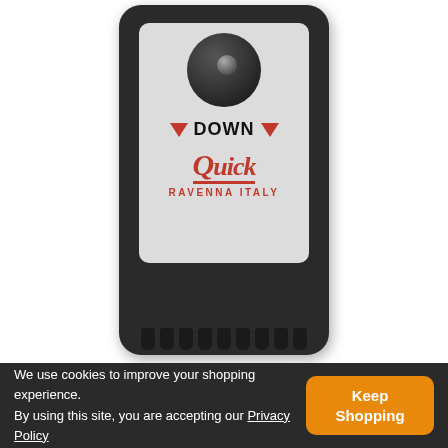[Figure (photo): Close-up photo of a Quick Ravenna Italy windlass remote control device. The device has a dark outer casing with a large rotary knob at the top, a light gray inner panel showing red downward-pointing triangles flanking the word DOWN, and the Quick brand logo (red stylized Q with 'uick' in italic red text, underlined) with 'RAVENNA ITALY' text below. The bottom of the device shows cable connectors.]
[Figure (photo): Thumbnail photo of the same Quick Ravenna Italy windlass remote control device, showing the full device including UP and DOWN labels with red triangles and the Quick logo.]
We use cookies to improve your shopping experience. By using this site, you are accepting our Privacy Policy